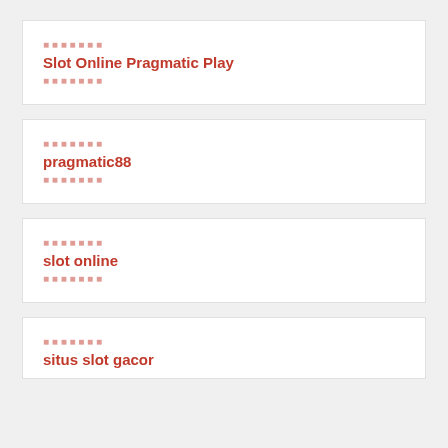Slot Online Pragmatic Play
pragmatic88
slot online
situs slot gacor